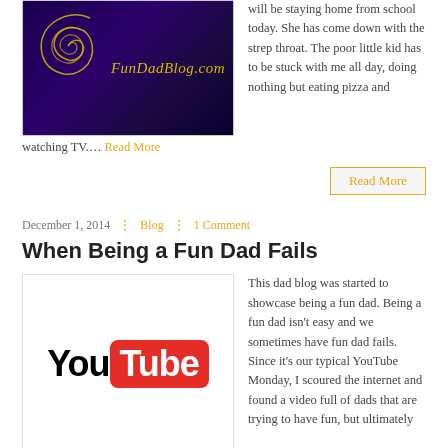[Figure (photo): FunDadBlog.com logo image with purple/dark background and golden spiral, blog URL text]
will be staying home from school today. She has come down with the strep throat. The poor little kid has to be stuck with me all day, doing nothing but eating pizza and watching TV.... Read More
[Figure (other): Read More button with orange border]
December 1, 2014 | Blog | 1 Comment
When Being a Fun Dad Fails
[Figure (logo): YouTube logo - You in black text, Tube in white text on red rounded rectangle background]
This dad blog was started to showcase being a fun dad. Being a fun dad isn't easy and we sometimes have fun dad fails. Since it's our typical YouTube Monday, I scoured the internet and found a video full of dads that are trying to have fun, but ultimately fail.... Read More